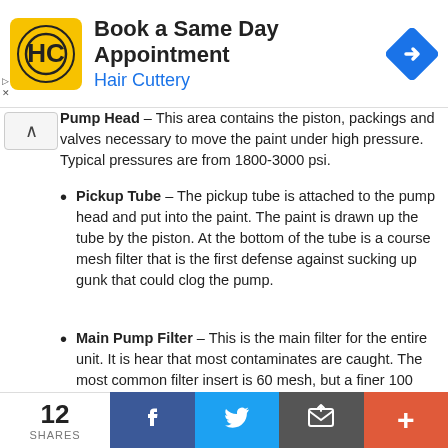[Figure (other): Advertisement banner for Hair Cuttery: Book a Same Day Appointment, with HC logo and navigation arrow icon]
Pump Head – This area contains the piston, packings and valves necessary to move the paint under high pressure. Typical pressures are from 1800-3000 psi.
Pickup Tube – The pickup tube is attached to the pump head and put into the paint. The paint is drawn up the tube by the piston. At the bottom of the tube is a course mesh filter that is the first defense against sucking up gunk that could clog the pump.
Main Pump Filter – This is the main filter for the entire unit. It is hear that most contaminates are caught. The most common filter insert is 60 mesh, but a finer 100 mesh filter can be used. Most paint applications are best filter through a 60 mesh paint filter. The actual design of the filter is specific to each manufacture and model.
By-Pass Valve and Hose – This valve and hose assembly is used to prime the pump and relieve the pressure in case of an
12 SHARES